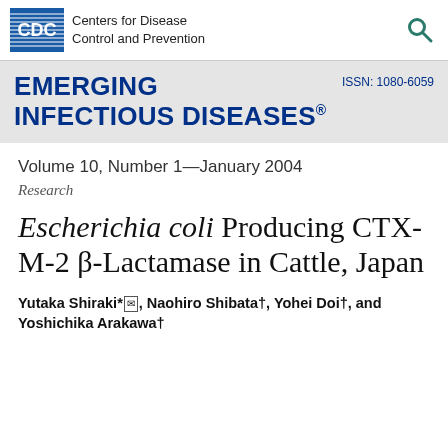Centers for Disease Control and Prevention
EMERGING INFECTIOUS DISEASES | ISSN: 1080-6059
Volume 10, Number 1—January 2004
Research
Escherichia coli Producing CTX-M-2 β-Lactamase in Cattle, Japan
Yutaka Shiraki*✉, Naohiro Shibata†, Yohei Doi†, and Yoshichika Arakawa†